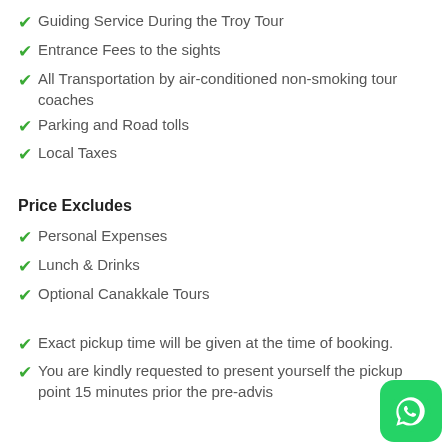Guiding Service During the Troy Tour
Entrance Fees to the sights
All Transportation by air-conditioned non-smoking tour coaches
Parking and Road tolls
Local Taxes
Price Excludes
Personal Expenses
Lunch & Drinks
Optional Canakkale Tours
Exact pickup time will be given at the time of booking.
You are kindly requested to present yourself the pickup point 15 minutes prior the pre-advised pickup time.